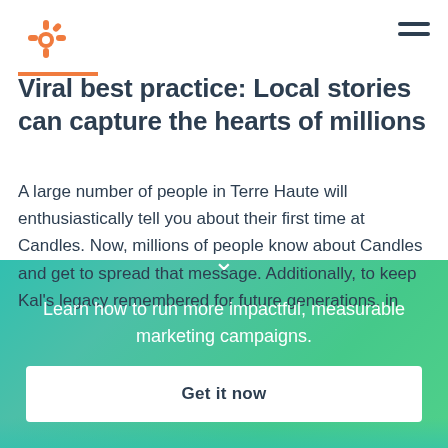[Figure (logo): HubSpot sprocket logo in orange/coral color]
Viral best practice: Local stories can capture the hearts of millions
A large number of people in Terre Haute will enthusiastically tell you about their first time at Candles. Now, millions of people know about Candles and get to spread that message. Additionally, to keep Kal's legacy remembered for future generations, in
Learn how to run more impactful, measurable marketing campaigns.
Get it now